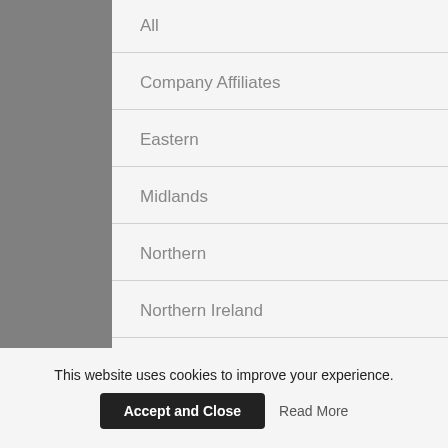All
Company Affiliates
Eastern
Midlands
Northern
Northern Ireland
Regulator
Scotland
This website uses cookies to improve your experience.
Accept and Close
Read More